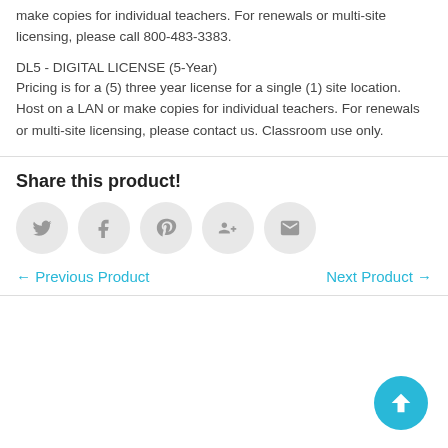make copies for individual teachers. For renewals or multi-site licensing, please call 800-483-3383.
DL5 - DIGITAL LICENSE (5-Year)
Pricing is for a (5) three year license for a single (1) site location. Host on a LAN or make copies for individual teachers. For renewals or multi-site licensing, please contact us. Classroom use only.
Share this product!
[Figure (other): Social sharing icons: Twitter, Facebook, Pinterest, Google+, Email]
← Previous Product    Next Product →